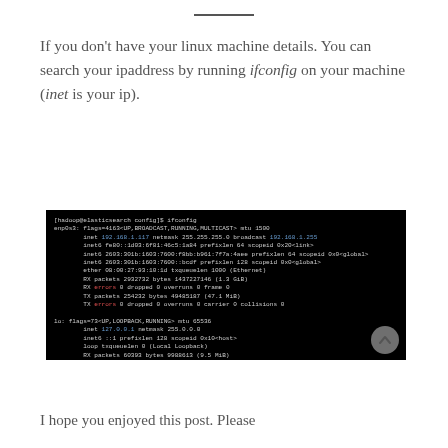If you don't have your linux machine details. You can search your ipaddress by running ifconfig on your machine (inet is your ip).
[Figure (screenshot): Terminal screenshot showing output of ifconfig command on a linux machine, displaying network interface details including inet address, inet6, ether, RX/TX packets, errors, and loopback interface configuration.]
I hope you enjoyed this post. Please